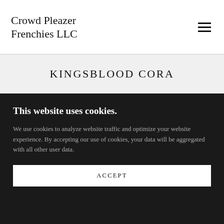Crowd Pleazer Frenchies LLC
KINGSBLOOD CORA
This website uses cookies.
We use cookies to analyze website traffic and optimize your website experience. By accepting our use of cookies, your data will be aggregated with all other user data.
ACCEPT